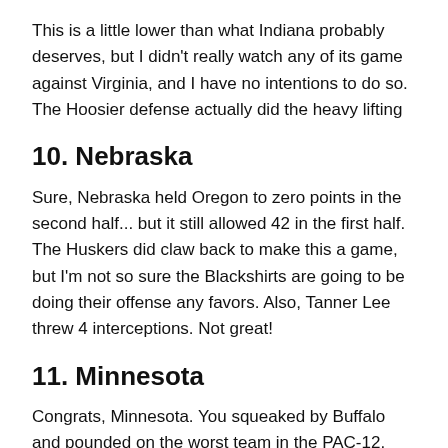This is a little lower than what Indiana probably deserves, but I didn't really watch any of its game against Virginia, and I have no intentions to do so. The Hoosier defense actually did the heavy lifting
10. Nebraska
Sure, Nebraska held Oregon to zero points in the second half... but it still allowed 42 in the first half. The Huskers did claw back to make this a game, but I'm not so sure the Blackshirts are going to be doing their offense any favors. Also, Tanner Lee threw 4 interceptions. Not great!
11. Minnesota
Congrats, Minnesota. You squeaked by Buffalo and pounded on the worst team in the PAC-12. The